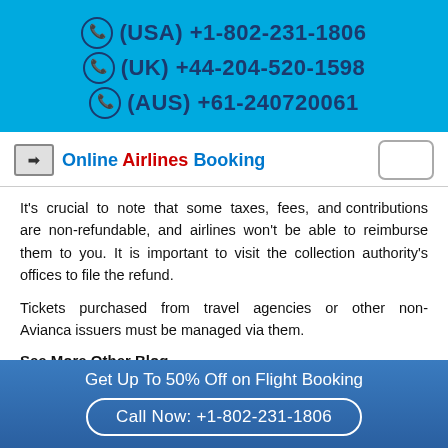(USA) +1-802-231-1806
(UK) +44-204-520-1598
(AUS) +61-240720061
Online Airlines Booking
It's crucial to note that some taxes, fees, and contributions are non-refundable, and airlines won't be able to reimburse them to you. It is important to visit the collection authority's offices to file the refund.
Tickets purchased from travel agencies or other non-Avianca issuers must be managed via them.
See More Other Blog
United airlines cancellation policy
Get Up To 50% Off on Flight Booking
Call Now: +1-802-231-1806